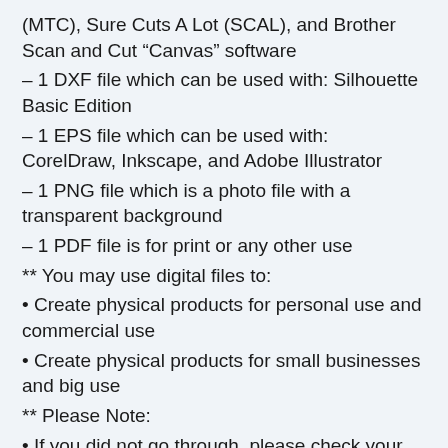(MTC), Sure Cuts A Lot (SCAL), and Brother Scan and Cut “Canvas” software
– 1 DXF file which can be used with: Silhouette Basic Edition
– 1 EPS file which can be used with: CorelDraw, Inkscape, and Adobe Illustrator
– 1 PNG file which is a photo file with a transparent background
– 1 PDF file is for print or any other use
** You may use digital files to:
• Create physical products for personal use and commercial use
• Create physical products for small businesses and big use
** Please Note:
• If you did not go through, please check your mailbox for the digital files.
• This listing includes digital files only. No printed